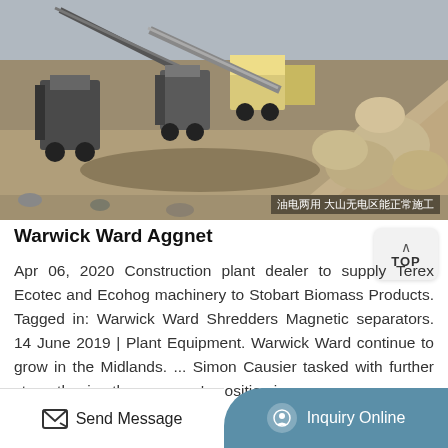[Figure (photo): Outdoor construction site showing heavy machinery including crushers and conveyors on a dirt ground with large piles of rocks/aggregate on the right side. Chinese text watermark visible at bottom right reading '油电两用 大山无电区能正常施工'.]
Warwick Ward Aggnet
Apr 06, 2020 Construction plant dealer to supply Terex Ecotec and Ecohog machinery to Stobart Biomass Products. Tagged in: Warwick Ward Shredders Magnetic separators. 14 June 2019 | Plant Equipment. Warwick Ward continue to grow in the Midlands. ... Simon Causier tasked with further strengthening the company's position in